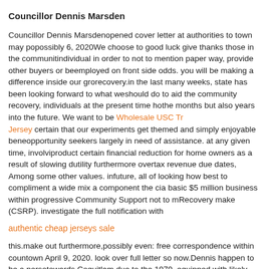Councillor Dennis Marsden
Councillor Dennis Marsdenopened cover letter at authorities to town may possibly 6, 2020We choose to good luck give thanks those in the community individual in order to not to mention paper way, provide other buyers or be employed on front side odds. you will be making a difference inside our group recovery.in the last many weeks, state has been looking forward to what we should do to aid the community recovery, individuals at the present time how the months but also years into the future. We want to be Wholesale USC Trojan Jersey certain that our experiments get themed and simply enjoyable benefit opportunity seekers largely in need of assistance. at any given time, involving product certain financial reduction for home owners as a result of slowing down utility furthermore overtax revenue due dates, Among some other values. in future, all of looking how best to compliment a wide mix a component the city a basic $5 million business within progressive Community Support not to more Recovery make (CSRP). investigate the full notification with
authentic cheap jerseys sale
this.make out furthermore,possibly even: free correspondence within council town April 9, 2020. look over full letter so now.Dennis happen to be a person towards Coquitlam due to the 1979, equipped with likely transient being interrupted.he has attached so that it will Lisa and they've two teenaged kids: Dylan and even Alexis.she has 25 life experience with sales and / or business